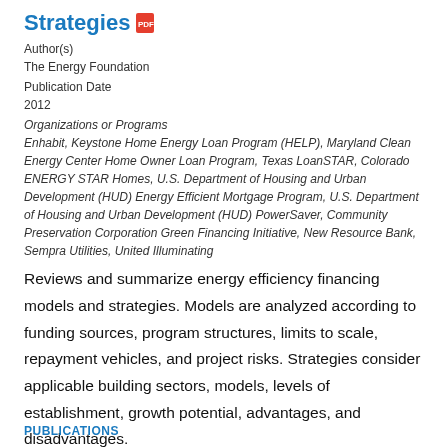Strategies
Author(s)
The Energy Foundation
Publication Date
2012
Organizations or Programs
Enhabit, Keystone Home Energy Loan Program (HELP), Maryland Clean Energy Center Home Owner Loan Program, Texas LoanSTAR, Colorado ENERGY STAR Homes, U.S. Department of Housing and Urban Development (HUD) Energy Efficient Mortgage Program, U.S. Department of Housing and Urban Development (HUD) PowerSaver, Community Preservation Corporation Green Financing Initiative, New Resource Bank, Sempra Utilities, United Illuminating
Reviews and summarize energy efficiency financing models and strategies. Models are analyzed according to funding sources, program structures, limits to scale, repayment vehicles, and project risks. Strategies consider applicable building sectors, models, levels of establishment, growth potential, advantages, and disadvantages.
PUBLICATIONS